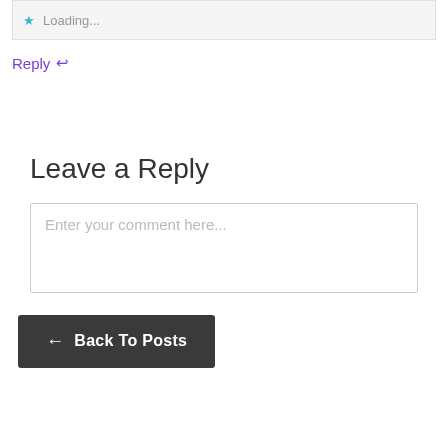Loading...
Reply ↩
Leave a Reply
Enter your comment here...
← Back To Posts